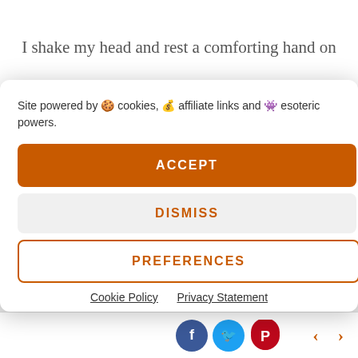I shake my head and rest a comforting hand on
Site powered by 🍪 cookies, 💰 affiliate links and 👾 esoteric powers.
ACCEPT
DISMISS
PREFERENCES
Cookie Policy   Privacy Statement
watch the bucket slowly go up, crest the top, then come back down again. Although the boy inside maintains a white knuckled grip on the